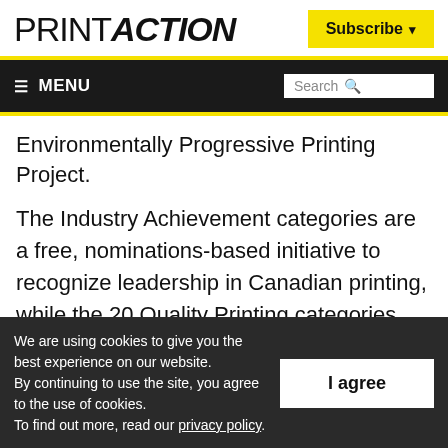PRINTACTION | Subscribe
MENU | Search
Environmentally Progressive Printing Project.
The Industry Achievement categories are a free, nominations-based initiative to recognize leadership in Canadian printing, while the 20 Quality Printing categories are based on applications ranging from variable-data
We are using cookies to give you the best experience on our website.
By continuing to use the site, you agree to the use of cookies.
To find out more, read our privacy policy.